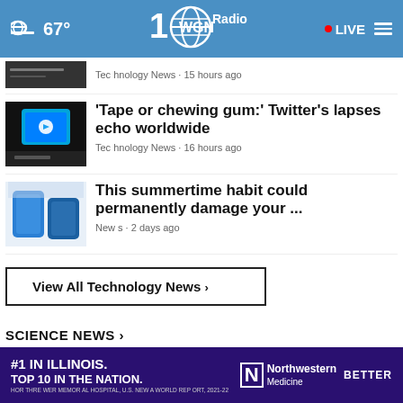[Figure (screenshot): WGN Radio website header with weather (67°), WGN Radio 100 logo, LIVE button, and hamburger menu on blue background]
Technology News • 15 hours ago
'Tape or chewing gum:' Twitter's lapses echo worldwide
Technology News • 16 hours ago
This summertime habit could permanently damage your ...
News • 2 days ago
View All Technology News ›
SCIENCE NEWS ›
Rod Pyle is 'back from Mars'
The reason why you should kill the
[Figure (screenshot): Northwestern Medicine advertisement: #1 IN ILLINOIS. TOP 10 IN THE NATION. with Northwestern Medicine BETTER logo]